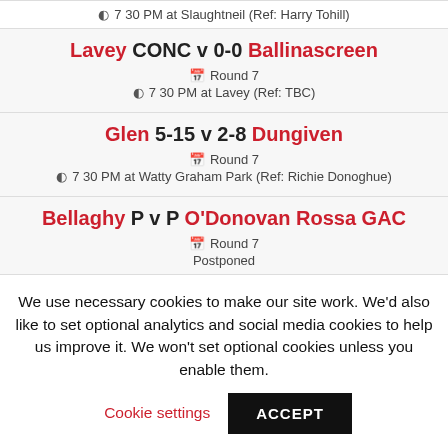7 30 PM at Slaughtneil (Ref: Harry Tohill)
Lavey CONC v 0-0 Ballinascreen
Round 7
7 30 PM at Lavey (Ref: TBC)
Glen 5-15 v 2-8 Dungiven
Round 7
7 30 PM at Watty Graham Park (Ref: Richie Donoghue)
Bellaghy P v P O'Donovan Rossa GAC
Round 7
Postponed
Hughes Steel Fabrications ACFL U19B1
We use necessary cookies to make our site work. We'd also like to set optional analytics and social media cookies to help us improve it. We won't set optional cookies unless you enable them.
Cookie settings
ACCEPT